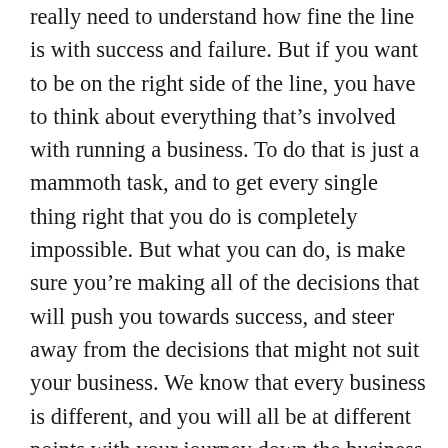really need to understand how fine the line is with success and failure. But if you want to be on the right side of the line, you have to think about everything that’s involved with running a business. To do that is just a mammoth task, and to get every single thing right that you do is completely impossible. But what you can do, is make sure you’re making all of the decisions that will push you towards success, and steer away from the decisions that might not suit your business. We know that every business is different, and you will all be at different points with your journey down the business road. But there are a few simple things that we know you should be doing, that will ensure you’ll stay on the right side of this line always. So, take a few minutes to have a read of this article, and see if you think the tips will help you stay on the right side of the success line!